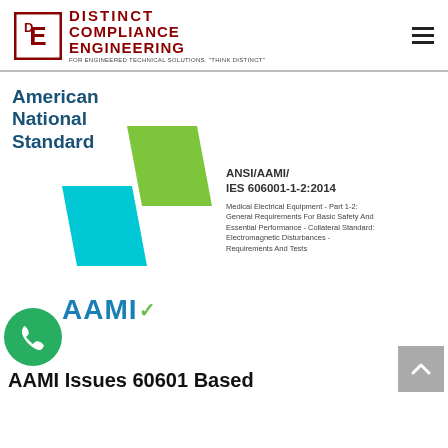[Figure (logo): Distinct Compliance Engineering logo with red D-E icon and red bold text, plus tagline 'FOR ENGINEERED TECHNICAL SOLUTIONS. THINK DISTINCT']
[Figure (illustration): American National Standard geometric logo with cyan and green parallelogram shapes]
ANSI/AAMI/
IES 606001-1-2:2014
Medical Electrical Equipment - Part 1-2: General Requirements For Basic Safety And Essential Performance - Collateral Standard: Electromagnetic Disturbances - Requirements And Tests
[Figure (logo): AAMI logo in blue text with green checkmark symbol]
AAMI Issues 60601 Based